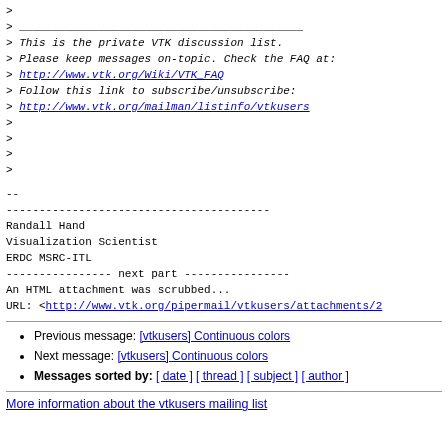> 
> ___________________________________________
> This is the private VTK discussion list.
> Please keep messages on-topic. Check the FAQ at:
> http://www.vtk.org/Wiki/VTK_FAQ
> Follow this link to subscribe/unsubscribe:
> http://www.vtk.org/mailman/listinfo/vtkusers
>
>
>
>
--
----------------------------------------
Randall Hand
Visualization Scientist
ERDC MSRC-ITL
---------------- next part ----------------
An HTML attachment was scrubbed...
URL: <http://www.vtk.org/pipermail/vtkusers/attachments/2...
Previous message: [vtkusers] Continuous colors
Next message: [vtkusers] Continuous colors
Messages sorted by: [ date ] [ thread ] [ subject ] [ author ]
More information about the vtkusers mailing list